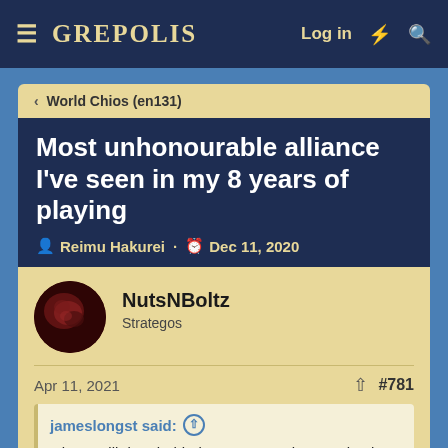≡ GREPOLIS   Log in ⚡ 🔍
< World Chios (en131)
Most unhonourable alliance I've seen in my 8 years of playing
Reimu Hakurei · Dec 11, 2020
NutsNBoltz
Strategos
Apr 11, 2021  #781
jameslongst said: ↑
Okay I will drop behind you guys and pretend to be on your team while you give us all cities and get us started...sound good?